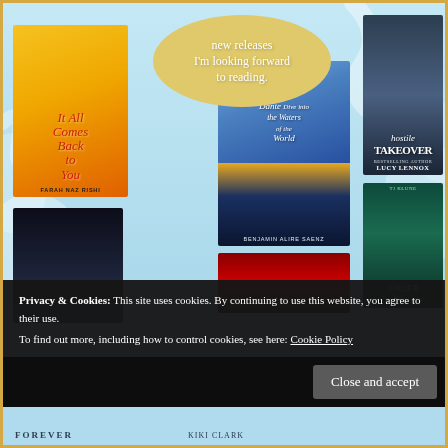[Figure (illustration): A book blog promotional image on a light blue background with decorative white wave shapes. Shows a yellow oval with handwritten-style text reading 'new releases I'm looking forward to reading.' alongside six book covers: 'It All Comes Back to You' by Farah Naz Rishi, 'Aristotle and Dante Dive into the Waters of the World' by Benjamin Alire Saenz, 'Hostile Takeover' by Lucy Lennox, 'Under the Whispering Door' by TJ Klune, a dark male figure cover, and a partial red cover at bottom.]
Privacy & Cookies: This site uses cookies. By continuing to use this website, you agree to their use.
To find out more, including how to control cookies, see here: Cookie Policy
Close and accept